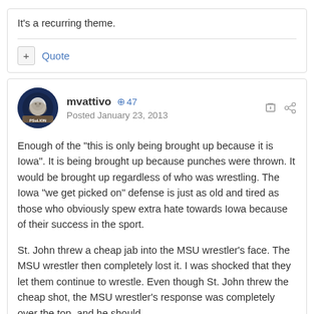It's a recurring theme.
Quote
mvattivo  +47
Posted January 23, 2013
Enough of the "this is only being brought up because it is Iowa". It is being brought up because punches were thrown. It would be brought up regardless of who was wrestling. The Iowa "we get picked on" defense is just as old and tired as those who obviously spew extra hate towards Iowa because of their success in the sport.
St. John threw a cheap jab into the MSU wrestler's face. The MSU wrestler then completely lost it. I was shocked that they let them continue to wrestle. Even though St. John threw the cheap shot, the MSU wrestler's response was completely over the top, and he should